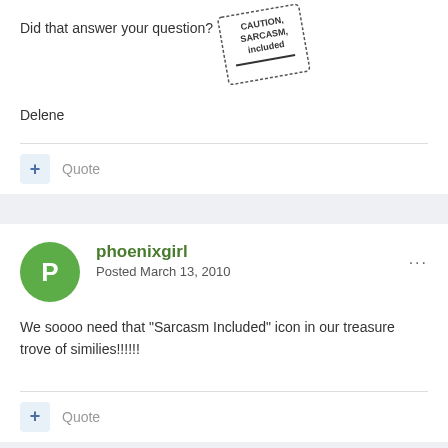Did that answer your question?
[Figure (illustration): Caution Sarcasm Included rubber stamp image, rotated slightly]
Delene
+ Quote
phoenixgirl
Posted March 13, 2010
We soooo need that "Sarcasm Included" icon in our treasure trove of similies!!!!!!
+ Quote
AngelofMusic